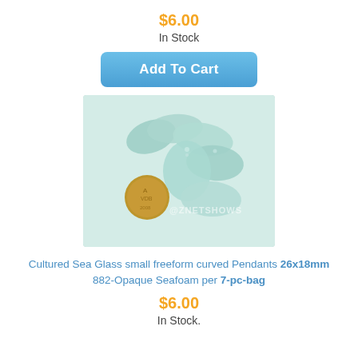$6.00
In Stock
Add To Cart
[Figure (photo): Photo of cultured sea glass small freeform curved pendants in opaque seafoam color, approximately 7 pieces arranged with a penny for scale. Watermark @ZNETSHOWS visible.]
Cultured Sea Glass small freeform curved Pendants 26x18mm 882-Opaque Seafoam per 7-pc-bag
$6.00
In Stock.